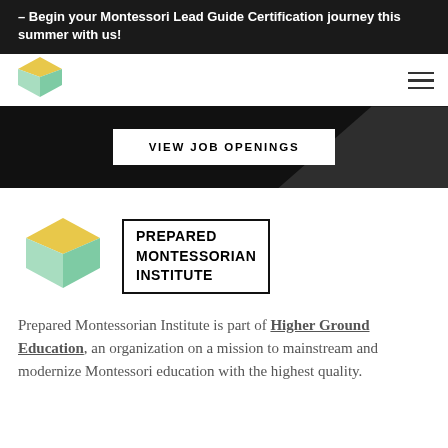– Begin your Montessori Lead Guide Certification journey this summer with us!
[Figure (logo): Prepared Montessorian Institute cube logo (small, in nav bar)]
[Figure (logo): Hamburger menu icon (three horizontal lines)]
[Figure (other): Black hero banner with VIEW JOB OPENINGS button and dark wedge]
[Figure (logo): Prepared Montessorian Institute full logo: cube icon with PREPARED MONTESSORIAN INSTITUTE text in bordered box]
Prepared Montessorian Institute is part of Higher Ground Education, an organization on a mission to mainstream and modernize Montessori education with the highest quality.